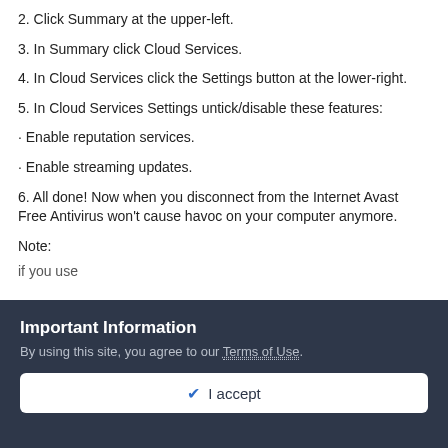2. Click Summary at the upper-left.
3. In Summary click Cloud Services.
4. In Cloud Services click the Settings button at the lower-right.
5. In Cloud Services Settings untick/disable these features:
· Enable reputation services.
· Enable streaming updates.
6. All done! Now when you disconnect from the Internet Avast Free Antivirus won't cause havoc on your computer anymore.
Note:
if you use...
Important Information
By using this site, you agree to our Terms of Use.
✓  I accept